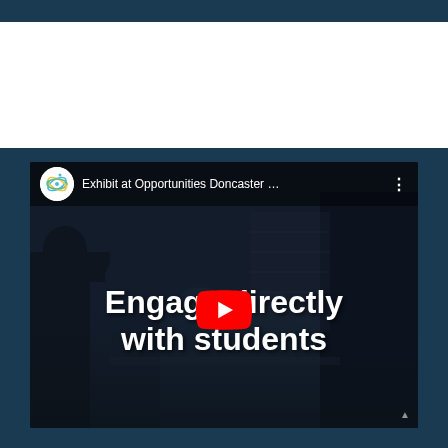[Figure (screenshot): YouTube video thumbnail showing 'Exhibit at Opportunities Doncaster ...' with text overlay 'Engage directly with students' and a YouTube play button. Dark background with silhouettes of people (students and instructor). Channel logo visible top-left.]